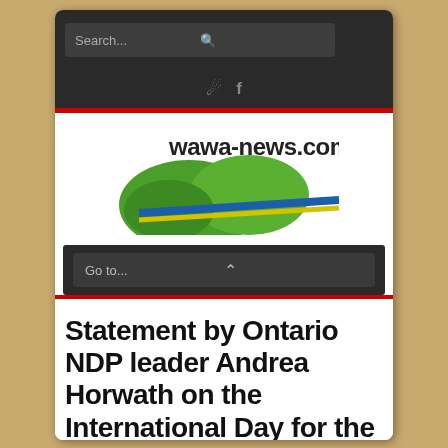[Figure (screenshot): Screenshot of wawa-news.com website on a mobile device showing search bar, social icons, site logo with green hills and road graphic, navigation dropdown, and article title]
Search...
[Figure (logo): wawa-news.com logo with green hills/mountains and a road with blue and yellow lines]
Go to...
Statement by Ontario NDP leader Andrea Horwath on the International Day for the Elimination of Violence